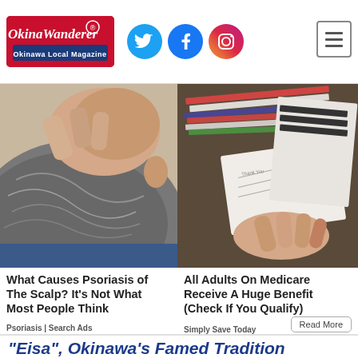OkinaWanderer - Okinawa Local Magazine
[Figure (photo): Close-up photo of a person's scalp and neck with grey hair, fingers visible examining the scalp]
[Figure (photo): Photo of a person's hands sorting through stacks of papers and documents on a table]
What Causes Psoriasis of The Scalp? It's Not What Most People Think
Psoriasis | Search Ads
All Adults On Medicare Receive A Huge Benefit (Check If You Qualify)
Simply Save Today
“Eisa”, Okinawa’s Famed Tradition
[Figure (photo): Thumbnail photo of Eisa dancers in ceremonial garb performing]
These days, when people think of Okinawa, the first image that may spring to mind are dancers clad in ceremonious garb armed with taiko drums and fold...